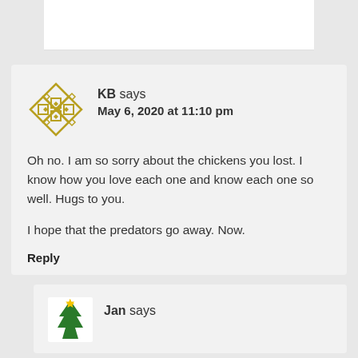KB says
May 6, 2020 at 11:10 pm
Oh no. I am so sorry about the chickens you lost. I know how you love each one and know each one so well. Hugs to you.

I hope that the predators go away. Now.
Reply
Jan says